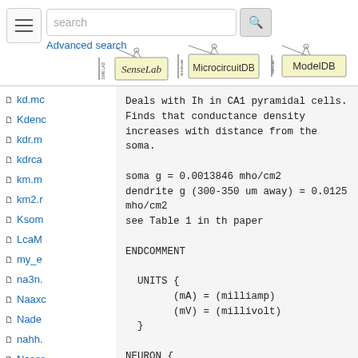search | Advanced search
[Figure (logo): SenseLab logo]
[Figure (logo): MicrocircuitDB logo]
[Figure (logo): ModelDB logo]
kd.mc
Kdenc
kdr.m
kdrca
km.m
km2.r
Ksom
LcaM
my_e
na3n.
Naaxc
Nade
nahh.
Nasor
Deals with Ih in CA1 pyramidal cells.
Finds that conductance density
increases with distance from the soma.

soma g = 0.0013846 mho/cm2
dendrite g (300-350 um away) = 0.0125
mho/cm2
see Table 1 in th paper

ENDCOMMENT

  UNITS {
        (mA) = (milliamp)
        (mV) = (millivolt)
  }

NEURON {
        SUFFIX Ih
        USEION h READ eh WRITE ih VALE